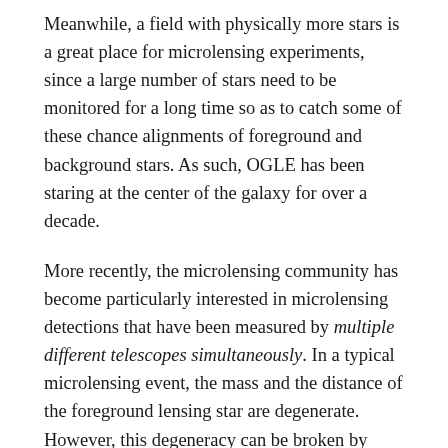Meanwhile, a field with physically more stars is a great place for microlensing experiments, since a large number of stars need to be monitored for a long time so as to catch some of these chance alignments of foreground and background stars. As such, OGLE has been staring at the center of the galaxy for over a decade.
More recently, the microlensing community has become particularly interested in microlensing detections that have been measured by multiple different telescopes simultaneously. In a typical microlensing event, the mass and the distance of the foreground lensing star are degenerate. However, this degeneracy can be broken by comparing several simultaneous observations of the microlensing event with physically separated telescopes. The wider the separation between the different telescopes measuring the microlensing detection, the better — so why not use a telescope in space? The Spitzer telescope is